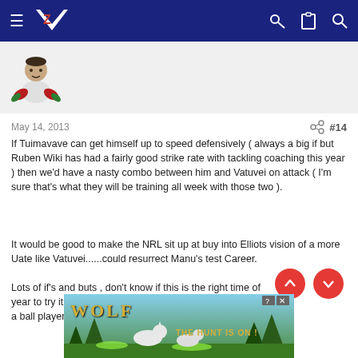Navigation bar with NZ Warriors logo, menu and icons
[Figure (illustration): User avatar showing a rugby/Maori themed character illustration with feathered wings]
May 14, 2013  #14
If Tuimavave can get himself up to speed defensively ( always a big if but Ruben Wiki has had a fairly good strike rate with tackling coaching this year ) then we'd have a nasty combo between him and Vatuvei on attack ( I'm sure that's what they will be training all week with those two ).
It would be good to make the NRL sit up at buy into Elliots vision of a more Uate like Vatuvei......could resurrect Manu's test Career.
Lots of if's and buts , don't know if this is the right time of year to try it on , but all in all I'm glad we're getting a look at a ball player next to the artist formerly known as beast.
[Figure (photo): Wolf game advertisement banner reading WOLF THE HUNT IS ON!]